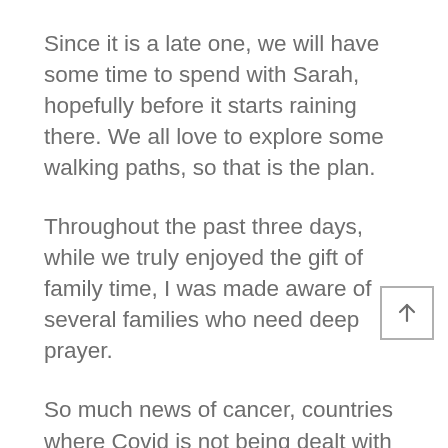Since it is a late one, we will have some time to spend with Sarah, hopefully before it starts raining there. We all love to explore some walking paths, so that is the plan.
Throughout the past three days, while we truly enjoyed the gift of family time, I was made aware of several families who need deep prayer.
So much news of cancer, countries where Covid is not being dealt with and people we love are hurting, life changes for many people who are so dear...we hold up our hands as if presenting these precious ones